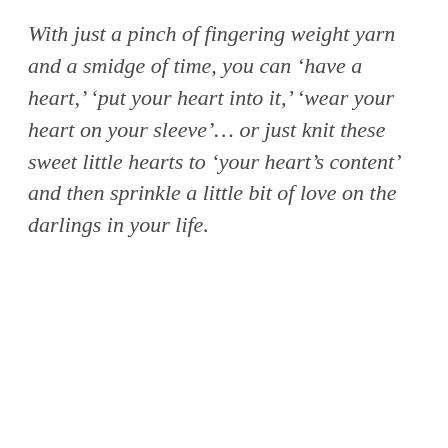With just a pinch of fingering weight yarn and a smidge of time, you can ‘have a heart,’ ‘put your heart into it,’ ‘wear your heart on your sleeve’… or just knit these sweet little hearts to ‘your heart’s content’ and then sprinkle a little bit of love on the darlings in your life.